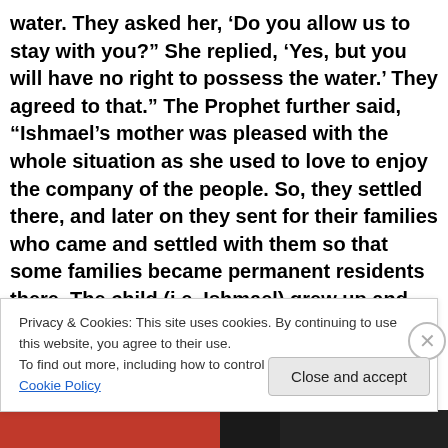water. They asked her, ‘Do you allow us to stay with you?” She replied, ‘Yes, but you will have no right to possess the water.’ They agreed to that.” The Prophet further said, “Ishmael’s mother was pleased with the whole situation as she used to love to enjoy the company of the people. So, they settled there, and later on they sent for their families who came and settled with them so that some families became permanent residents there. The child (i.e. Ishmael) grew up and learnt Arabic from them and (his virtues) caused them to love and admire him as he grew up,
Privacy & Cookies: This site uses cookies. By continuing to use this website, you agree to their use.
To find out more, including how to control cookies, see here: Cookie Policy